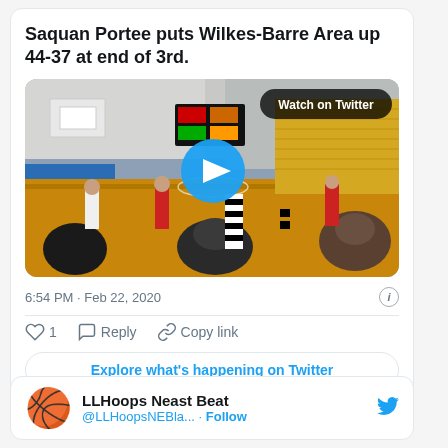Saquan Portee puts Wilkes-Barre Area up 44-37 at end of 3rd.
[Figure (screenshot): Basketball game video thumbnail with play button and 'Watch on Twitter' label]
6:54 PM · Feb 22, 2020
♡ 1   Reply   Copy link
Explore what's happening on Twitter
LLHoops Neast Beat
@LLHoopsNEBla... · Follow